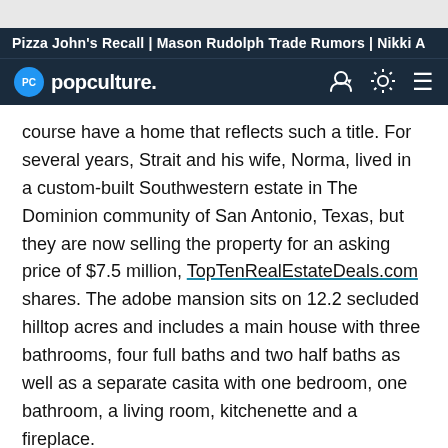Pizza John's Recall | Mason Rudolph Trade Rumors | Nikki A
[Figure (logo): Popculture.com logo with PC circle icon and navigation icons]
course have a home that reflects such a title. For several years, Strait and his wife, Norma, lived in a custom-built Southwestern estate in The Dominion community of San Antonio, Texas, but they are now selling the property for an asking price of $7.5 million, TopTenRealEstateDeals.com shares. The adobe mansion sits on 12.2 secluded hilltop acres and includes a main house with three bathrooms, four full baths and two half baths as well as a separate casita with one bedroom, one bathroom, a living room, kitchenette and a fireplace.